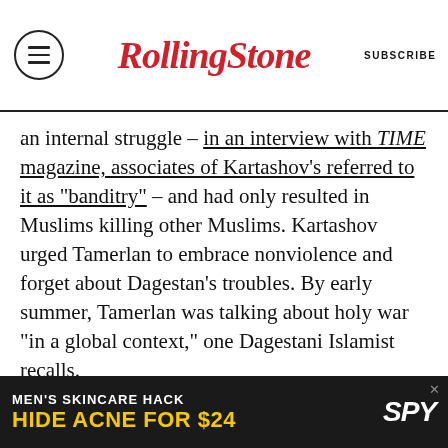Rolling Stone | SUBSCRIBE
an internal struggle – in an interview with TIME magazine, associates of Kartashov's referred to it as "banditry" – and had only resulted in Muslims killing other Muslims. Kartashov urged Tamerlan to embrace nonviolence and forget about Dagestan's troubles. By early summer, Tamerlan was talking about holy war "in a global context," one Dagestani Islamist recalls.
In July 2012, Tamerlan returned to Cambridge. He grew a five-inch beard and began to get in vocal debates about the virtues of Islam. He vociferously criticized U.S. policy in the Middle East. Twice over the next six or eight months, he
[Figure (other): Advertisement banner: MEN'S SKINCARE HACK HIDE ACNE FOR $24 with SPY logo]